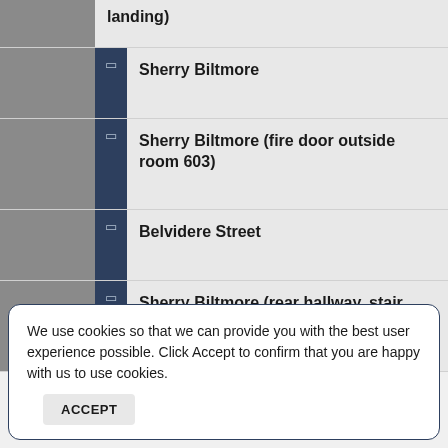landing)
Sherry Biltmore
Sherry Biltmore (fire door outside room 603)
Belvidere Street
Sherry Biltmore (rear hallway, stair landing)
We use cookies so that we can provide you with the best user experience possible. Click Accept to confirm that you are happy with us to use cookies. ACCEPT